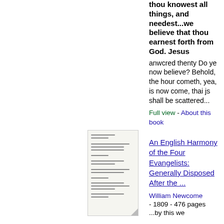thou knowest all things, and needest...we believe that thou earnest forth from God. Jesus anwcred thenty Do ye now believe? Behold, the hour cometh, yea, is now come, thai js shall be scattered...
Full view - About this book
[Figure (illustration): Small thumbnail image of a book cover page with text lines]
An English Harmony of the Four Evangelists: Generally Disposed After the ...
William Newcome - 1809 - 476 pages
...by this we